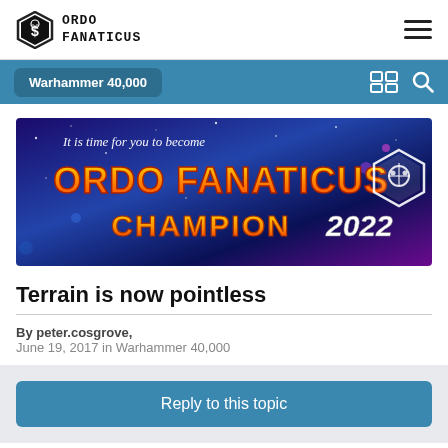ORDO FANATICUS
Warhammer 40,000
[Figure (illustration): Ordo Fanaticus Champion 2022 promotional banner with orange and yellow text on a purple/blue galaxy background. Top text: 'It is time for you to become', main text: 'ORDO FANATICUS CHAMPION 2022' with the Ordo Fanaticus skull logo on the right.]
Terrain is now pointless
By peter.cosgrove, June 19, 2017 in Warhammer 40,000
Reply to this topic